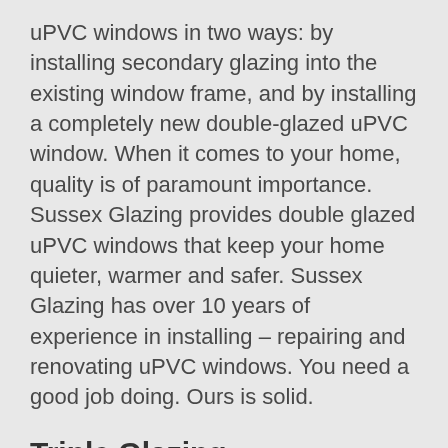uPVC windows in two ways: by installing secondary glazing into the existing window frame, and by installing a completely new double-glazed uPVC window. When it comes to your home, quality is of paramount importance. Sussex Glazing provides double glazed uPVC windows that keep your home quieter, warmer and safer. Sussex Glazing has over 10 years of experience in installing – repairing and renovating uPVC windows. You need a good job doing. Ours is solid.
Triple Glazing
Our triple glazed windows are an elegant and practical solution to a more energy-efficient home! Our triple glazed uPVC windows really do make a huge difference to your home. They minimise heat